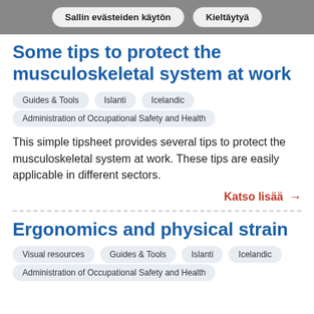Sallin evästeiden käytön | Kieltäytyä
Some tips to protect the musculoskeletal system at work
Guides & Tools
Islanti
Icelandic
Administration of Occupational Safety and Health
This simple tipsheet provides several tips to protect the musculoskeletal system at work. These tips are easily applicable in different sectors.
Katso lisää →
Ergonomics and physical strain
Visual resources
Guides & Tools
Islanti
Icelandic
Administration of Occupational Safety and Health